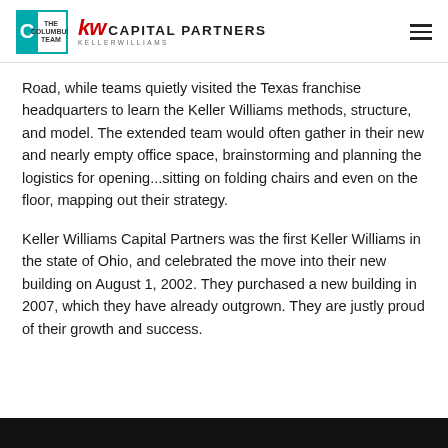THE COLUMBUS TEAM | KW CAPITAL PARTNERS KELLERWILLIAMS
Road, while teams quietly visited the Texas franchise headquarters to learn the Keller Williams methods, structure, and model. The extended team would often gather in their new and nearly empty office space, brainstorming and planning the logistics for opening...sitting on folding chairs and even on the floor, mapping out their strategy.
Keller Williams Capital Partners was the first Keller Williams in the state of Ohio, and celebrated the move into their new building on August 1, 2002. They purchased a new building in 2007, which they have already outgrown. They are justly proud of their growth and success.
[Figure (photo): Dark photo strip at the bottom of the page, partially visible]